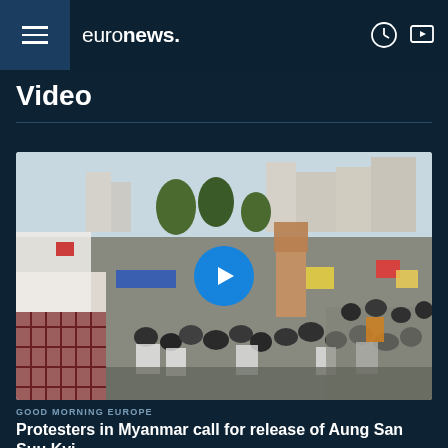euronews.
Video
[Figure (photo): Large crowd of protesters sitting in an outdoor plaza raising their hands, protest signs visible, trees and buildings in background. A large blue play button is overlaid in the center of the image.]
GOOD MORNING EUROPE
Protesters in Myanmar call for release of Aung San Suu Kyi